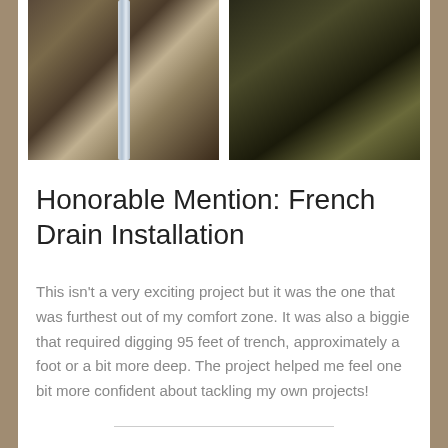[Figure (photo): Two outdoor photos side by side. Left photo shows a trench dug in soil with a white drainage pipe visible running vertically. Right photo shows a pile of dark excavated soil/dirt with some leaves.]
Honorable Mention: French Drain Installation
This isn't a very exciting project but it was the one that was furthest out of my comfort zone. It was also a biggie that required digging 95 feet of trench, approximately a foot or a bit more deep. The project helped me feel one bit more confident about tackling my own projects!
There is so much more I could have included! I bought